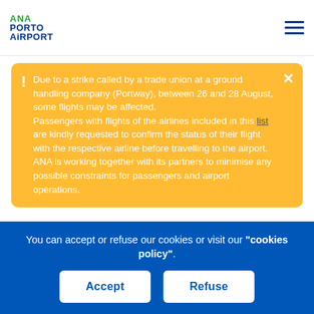ANA Porto Airport
Due to a strike called by a trade union at a ground handling company (Portway), between 26 and 28 August, some flights may be affected. Passengers with flights of the airlines included in this list are kindly requested to confirm the status of their flight with the respective airline before travelling to the airport. ANA is working together with its partners to minimise any possible constraints for passengers and airport operations.
There are, however, several ways to check-in. See them here and choose the one that is most convenient for you.
For more information, contact your airline, your travel agent or call the ANA
You can accept or refuse our cookies or visit our "cookies policy".